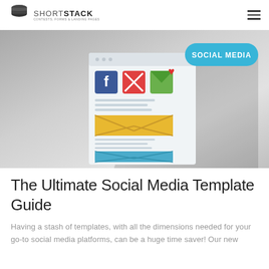ShortStack — Contests, Forms & Landing Pages
[Figure (illustration): Hero banner with a gradient gray background, a flat-design illustration of a webpage showing Facebook, email, and newsletter icons at the top with a red heart, yellow and blue envelope graphics below, and a teal rounded badge reading 'SOCIAL MEDIA' in the upper right.]
The Ultimate Social Media Template Guide
Having a stash of templates, with all the dimensions needed for your go-to social media platforms, can be a huge time saver! Our new